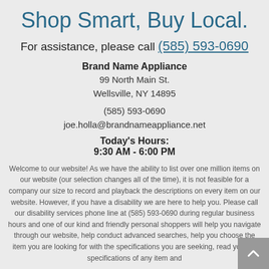Shop Smart, Buy Local.
For assistance, please call (585) 593-0690
Brand Name Appliance
99 North Main St.
Wellsville, NY 14895

(585) 593-0690

joe.holla@brandnameappliance.net
Today's Hours:
9:30 AM - 6:00 PM
Welcome to our website! As we have the ability to list over one million items on our website (our selection changes all of the time), it is not feasible for a company our size to record and playback the descriptions on every item on our website. However, if you have a disability we are here to help you. Please call our disability services phone line at (585) 593-0690 during regular business hours and one of our kind and friendly personal shoppers will help you navigate through our website, help conduct advanced searches, help you choose the item you are looking for with the specifications you are seeking, read you the specifications of any item and